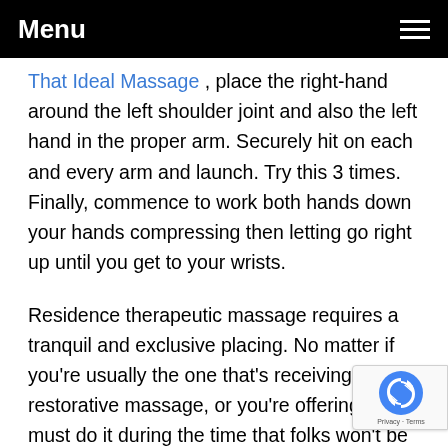Menu
That Ideal Massage , place the right-hand around the left shoulder joint and also the left hand in the proper arm. Securely hit on each and every arm and launch. Try this 3 times. Finally, commence to work both hands down your hands compressing then letting go right up until you get to your wrists.
Residence therapeutic massage requires a tranquil and exclusive placing. No matter if you're usually the one that's receiving a restorative massage, or you're offering 1, you must do it during the time that folks won't be disturbing you. Switch off all of your electronic digital products due to the fact you need to disconnect from your planet close to you as a way to